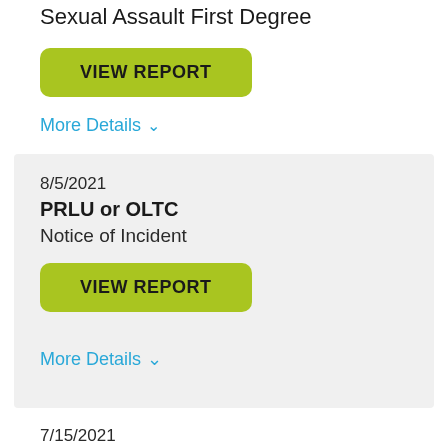Sexual Assault First Degree
VIEW REPORT
More Details ∨
8/5/2021
PRLU or OLTC
Notice of Incident
VIEW REPORT
More Details ∨
7/15/2021